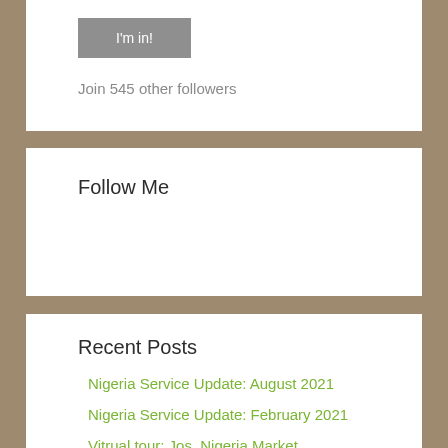I'm in!
Join 545 other followers
Follow Me
Recent Posts
Nigeria Service Update: August 2021
Nigeria Service Update: February 2021
Vitrual tour: Jos, Nigeria Market